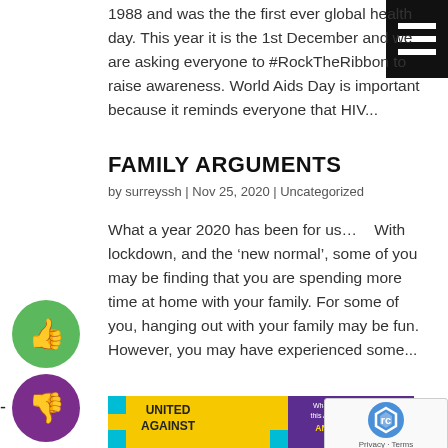1988 and was the the first ever global health day. This year it is the 1st December and we are asking everyone to #RockTheRibbon to raise awareness. World Aids Day is important because it reminds everyone that HIV...
[Figure (illustration): Hamburger menu icon, black background with three white horizontal bars, top right corner]
FAMILY ARGUMENTS
by surreyssh | Nov 25, 2020 | Uncategorized
What a year 2020 has been for us…   With lockdown, and the 'new normal', some of you may be finding that you are spending more time at home with your family. For some of you, hanging out with your family may be fun. However, you may have experienced some...
[Figure (illustration): Green circle with white thumbs up icon]
[Figure (illustration): Purple circle with white thumbs down icon]
[Figure (illustration): Anti-Bullying Week 2020 promotional banner - United Against text on yellow/purple puzzle piece background with text 'What part will you play this Anti-Bullying Week? ANTI-BULLYING WEEK 2020 16th - 20th November']
[Figure (illustration): reCAPTCHA widget overlay with Google reCAPTCHA logo and Privacy - Terms text]